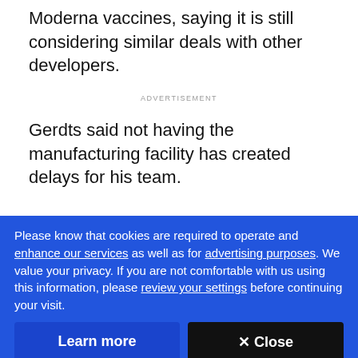Moderna vaccines, saying it is still considering similar deals with other developers.
ADVERTISEMENT
Gerdts said not having the manufacturing facility has created delays for his team.
[Figure (photo): Photo of what appears to be a laboratory or manufacturing facility interior with dark equipment and a bright light area]
Please know that cookies are required to operate and enhance our services as well as for advertising purposes. We value your privacy. If you are not comfortable with us using this information, please review your settings before continuing your visit.
Learn more
✕ Close